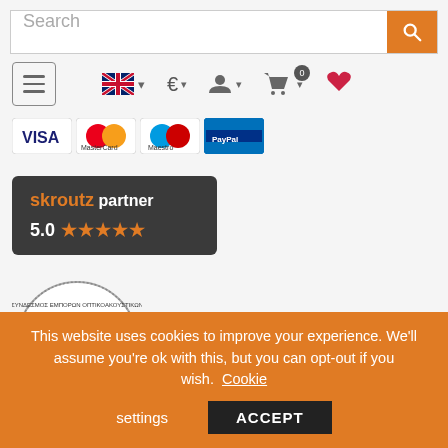[Figure (screenshot): E-commerce website header with search bar, navigation icons (hamburger menu, UK flag/language selector, Euro currency selector, user account, shopping cart with badge 0, wishlist heart), payment method logos (VISA, MasterCard, Maestro, PayPal), Skroutz partner badge showing 5.0 stars, and ΣΕΟΣΕΠΕ association logo]
This website uses cookies to improve your experience. We'll assume you're ok with this, but you can opt-out if you wish. Cookie settings ACCEPT